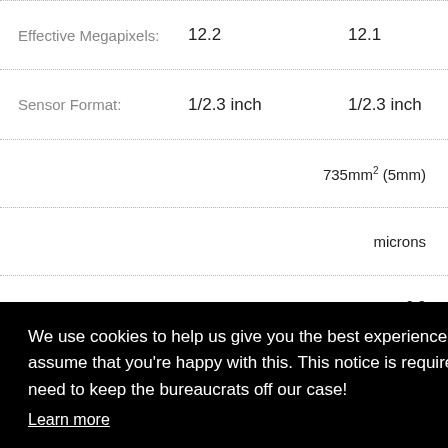| Specification | Value 1 | Value 2 |
| --- | --- | --- |
| Effective Megapixels: | 12.2 | 12.1 |
| Sensor Format: | 1/2.3 inch | 1/2.3 inch |
|  | 735mm² (...5mm) |  |
|  | microns |  |
|  | 6:9 |  |
| Color Filter Type: |  | RGBG |
We use cookies to help us give you the best experience on IR. If you continue to use this site, we will assume that you're happy with this. This notice is required by recent EU rules, and IR is read globally, so we need to keep the bureaucrats off our case!
Learn more
Got it!